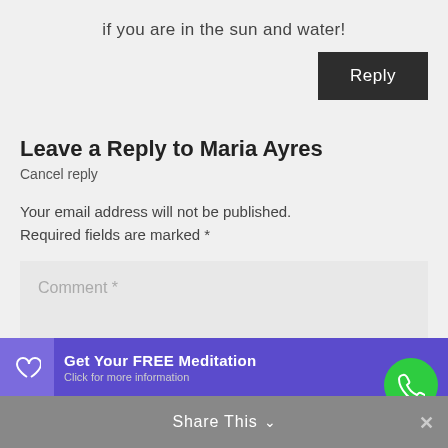if you are in the sun and water!
Reply
Leave a Reply to Maria Ayres
Cancel reply
Your email address will not be published. Required fields are marked *
Comment *
Get Your FREE Meditation
Click for more information
Share This